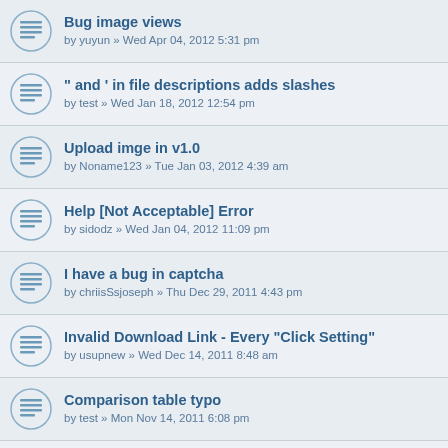Bug image views
by yuyun » Wed Apr 04, 2012 5:31 pm
" and ' in file descriptions adds slashes
by test » Wed Jan 18, 2012 12:54 pm
Upload imge in v1.0
by Noname123 » Tue Jan 03, 2012 4:39 am
Help [Not Acceptable] Error
by sidodz » Wed Jan 04, 2012 11:09 pm
I have a bug in captcha
by chriisSsjoseph » Thu Dec 29, 2011 4:43 pm
Invalid Download Link - Every "Click Setting"
by usupnew » Wed Dec 14, 2011 8:48 am
Comparison table typo
by test » Mon Nov 14, 2011 6:08 pm
[SOLVED] just a little space in upload.php
by csuno » Tue Nov 15, 2011 2:11 pm
[SOLVED] File Type / Restriction
by leisyaoron » Sat Sep 17, 2011 3:29 pm
[SOLVED] Fatal Error